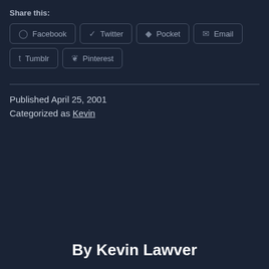Share this:
Facebook  Twitter  Pocket  Email  Tumblr  Pinterest
Published April 25, 2001
Categorized as Kevin
By Kevin Lawver